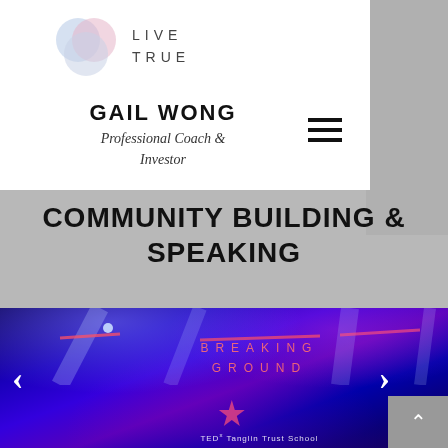[Figure (logo): Live True logo with overlapping colored circles and text 'LIVE TRUE']
GAIL WONG
Professional Coach & Investor
COMMUNITY BUILDING & SPEAKING
[Figure (photo): Stage photo with blue and purple lighting for a TEDx event titled 'Breaking Ground' at Tanglin Trust School, with navigation arrows on both sides]